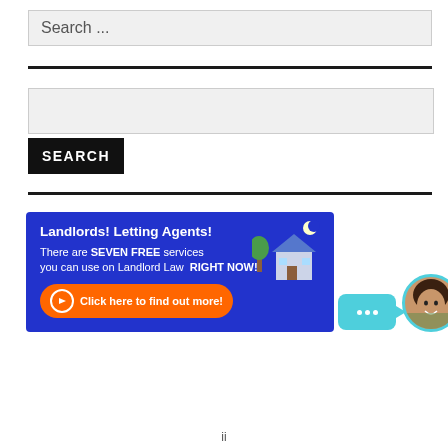Search ...
[Figure (screenshot): Search input box with placeholder text 'Search ...']
[Figure (screenshot): Secondary search input area with SEARCH button]
[Figure (infographic): Landlord Law advertisement banner: 'Landlords! Letting Agents! There are SEVEN FREE services you can use on Landlord Law RIGHT NOW! Click here to find out more!' with orange button, house illustration, chat bubble and avatar]
ii